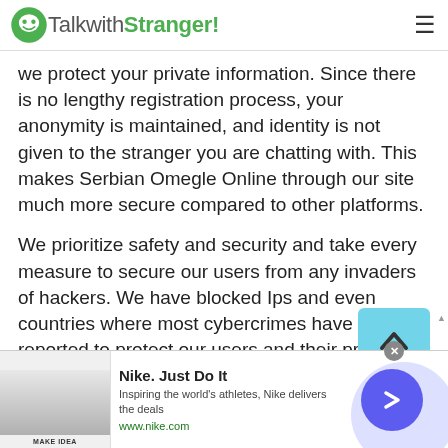TalkwithStranger!
we protect your private information. Since there is no lengthy registration process, your anonymity is maintained, and identity is not given to the stranger you are chatting with. This makes Serbian Omegle Online through our site much more secure compared to other platforms.
We prioritize safety and security and take every measure to secure our users from any invaders of hackers. We have blocked Ips and even countries where most cybercrimes have been reported to protect our users and their private information from getting into the hands of someone who
[Figure (screenshot): Nike advertisement banner with logo image, title 'Nike. Just Do It', description 'Inspiring the world's athletes, Nike delivers the deals', URL 'www.nike.com', and a blue arrow button with purple background circle]